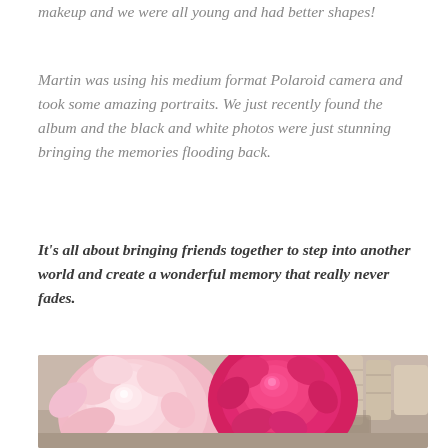makeup and we were all young and had better shapes!
Martin was using his medium format Polaroid camera and took some amazing portraits. We just recently found the album and the black and white photos were just stunning bringing the memories flooding back.
It's all about bringing friends together to step into another world and create a wonderful memory that really never fades.
[Figure (photo): A photograph of large pink and deep red/magenta peony flowers arranged together, with birch logs and a small glass candleholder visible in the background, on a table surface.]